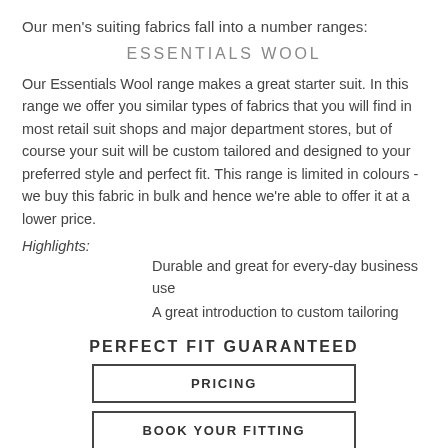Our men's suiting fabrics fall into a number ranges:
ESSENTIALS WOOL
Our Essentials Wool range makes a great starter suit. In this range we offer you similar types of fabrics that you will find in most retail suit shops and major department stores, but of course your suit will be custom tailored and designed to your preferred style and perfect fit. This range is limited in colours - we buy this fabric in bulk and hence we're able to offer it at a lower price.
Highlights:
Durable and great for every-day business use
A great introduction to custom tailoring
PERFECT FIT GUARANTEED
PRICING
BOOK YOUR FITTING
ENGLISH WOOL & CASHMERE
By far our most popular range. Perfect for any professional, manager